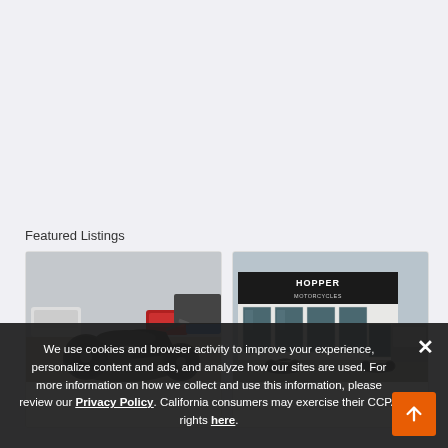Featured Listings
[Figure (photo): Motorcycle parked in a dealership lot, black cruiser bike, cars and trucks in background, overcast day]
[Figure (photo): Hopper Motorcycles dealership building exterior, large storefront with sign reading HOPPER MOTORCYCLES, motorcycles visible in front]
We use cookies and browser activity to improve your experience, personalize content and ads, and analyze how our sites are used. For more information on how we collect and use this information, please review our Privacy Policy. California consumers may exercise their CCPA rights here.